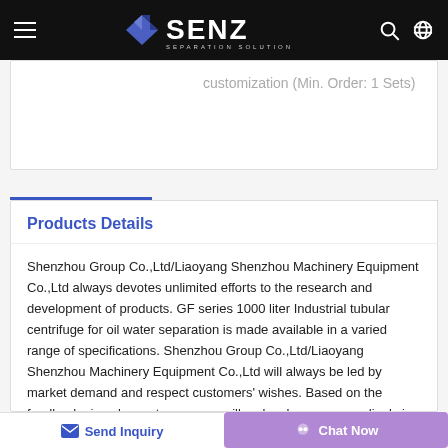SENZ SEPARATION SOLUTIONS
customization (Min. Order: 1 Sets)
Products Details
Shenzhou Group Co.,Ltd/Liaoyang Shenzhou Machinery Equipment Co.,Ltd always devotes unlimited efforts to the research and development of products. GF series 1000 liter Industrial tubular centrifuge for oil water separation is made available in a varied range of specifications. Shenzhou Group Co.,Ltd/Liaoyang Shenzhou Machinery Equipment Co.,Ltd will always be led by market demand and respect customers' wishes. Based on the feedback given by customers, we will make changes accordingly in our product development so as to manufacture the most satisfying and profitable products.